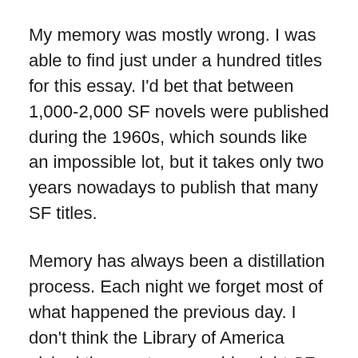My memory was mostly wrong. I was able to find just under a hundred titles for this essay. I'd bet that between 1,000-2,000 SF novels were published during the 1960s, which sounds like an impossible lot, but it takes only two years nowadays to publish that many SF titles.
Memory has always been a distillation process. Each night we forget most of what happened the previous day. I don't think the Library of America picked the most memorable eight SF novels to remember the 1960s. But then every science fiction fan who lived through the sixties will recall a different eight titles. And it would be unfair for me to want my eight favorites to be the ones remembered. However, I'd